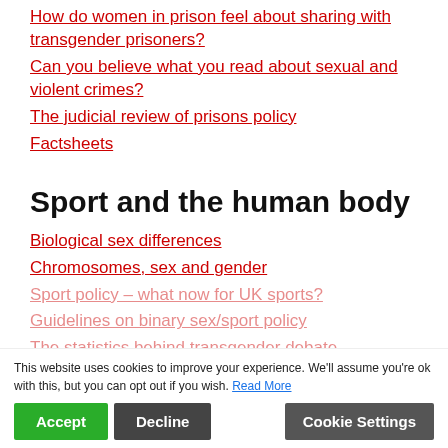How do women in prison feel about sharing with transgender prisoners?
Can you believe what you read about sexual and violent crimes?
The judicial review of prisons policy
Factsheets
Sport and the human body
Biological sex differences
Chromosomes, sex and gender
Sport policy – what now for UK sports?
Guidelines on binary sex/sport policy
The statistics behind transgender debate
This website uses cookies to improve your experience. We'll assume you're ok with this, but you can opt out if you wish. Read More